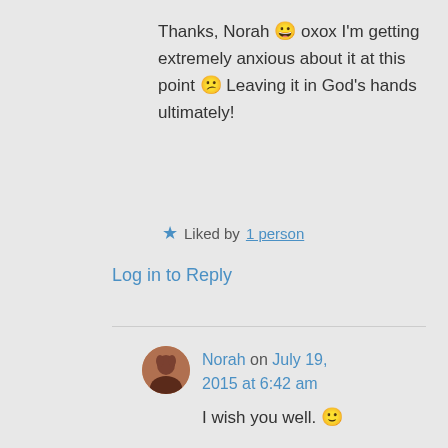Thanks, Norah 😀 oxox I'm getting extremely anxious about it at this point 😕 Leaving it in God's hands ultimately!
★ Liked by 1 person
Log in to Reply
Norah on July 19, 2015 at 6:42 am
I wish you well. 🙂
★ Liked by 1 person
Log in to Reply